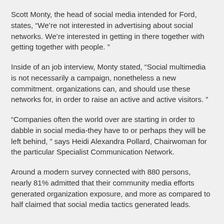Scott Monty, the head of social media intended for Ford, states, “We’re not interested in advertising about social networks. We’re interested in getting in there together with getting together with people.”
Inside of an job interview, Monty stated, “Social multimedia is not necessarily a campaign, nonetheless a new commitment. organizations can, and should use these networks for, in order to raise an active and active visitors.”
“Companies often the world over are starting in order to dabble in social media-they have to or perhaps they will be left behind,” says Heidi Alexandra Pollard, Chairwoman for the particular Specialist Communication Network.
Around a modern survey connected with 880 persons, nearly 81% admitted that their community media efforts generated organization exposure, and more as compared to half claimed that social media tactics generated leads.